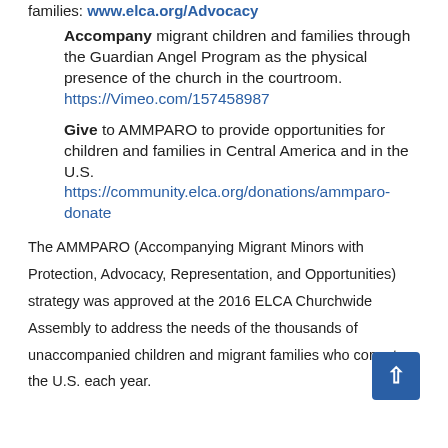families: www.elca.org/Advocacy
Accompany migrant children and families through the Guardian Angel Program as the physical presence of the church in the courtroom. https://Vimeo.com/157458987
Give to AMMPARO to provide opportunities for children and families in Central America and in the U.S. https://community.elca.org/donations/ammparo-donate
The AMMPARO (Accompanying Migrant Minors with Protection, Advocacy, Representation, and Opportunities) strategy was approved at the 2016 ELCA Churchwide Assembly to address the needs of the thousands of unaccompanied children and migrant families who come to the U.S. each year.